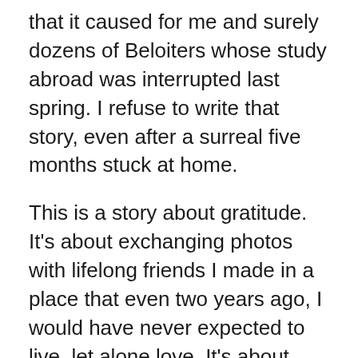that it caused for me and surely dozens of Beloiters whose study abroad was interrupted last spring. I refuse to write that story, even after a surreal five months stuck at home.
This is a story about gratitude. It's about exchanging photos with lifelong friends I made in a place that even two years ago, I would have never expected to live, let alone love. It's about attending Irish traditional music concerts in warm pubs, learning to cook for myself (badly, I might add), getting caught in chilly downpours, and reading my poetry to a room of supportive strangers. It initially felt like a separate story, almost as if I'd stepped into someone else's. But now, after months away from the beautiful place I briefly called home, I can see that it was a chapter in my much longer Beloit story, complete with a